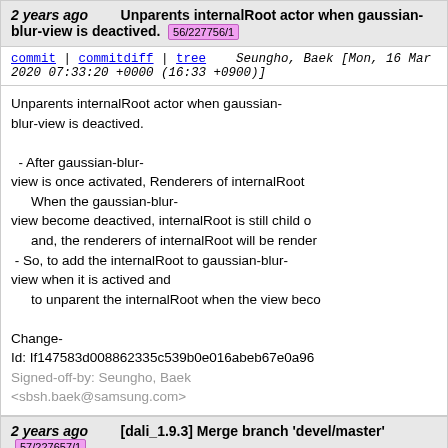2 years ago  Unparents internalRoot actor when gaussian-blur-view is deactived.  56/227756/1
commit | commitdiff | tree    Seungho, Baek [Mon, 16 Mar 2020 07:33:20 +0000 (16:33 +0900)]
Unparents internalRoot actor when gaussian-blur-view is deactived.

 - After gaussian-blur-view is once activated, Renderers of internalRoot
    When the gaussian-blur-view become deactived, internalRoot is still child o
    and, the renderers of internalRoot will be render
 - So, to add the internalRoot to gaussian-blur-view when it is actived and
    to unparent the internalRoot when the view beco

Change-Id: If147583d008862335c539b0e016abeb67e0a96...
Signed-off-by: Seungho, Baek <sbsh.baek@samsung.com>
2 years ago  [dali_1.9.3] Merge branch 'devel/master'  57/227657/1
commit | commitdiff | tree    Richard Huang [Fri, 13 Mar 2020 12:16:22 +0000 (12:16 +0000)]
[dali_1.9.3] Merge branch 'devel/master'